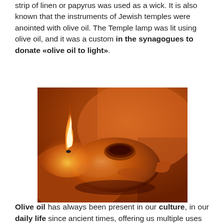strip of linen or papyrus was used as a wick. It is also known that the instruments of Jewish temples were anointed with olive oil. The Temple lamp was lit using olive oil, and it was a custom in the synagogues to donate «olive oil to light».
[Figure (photo): Close-up photograph of an ancient clay oil lamp lit with a flame, held in a hand, with warm orange-brown tones.]
Olive oil has always been present in our culture, in our daily life since ancient times, offering us multiple uses